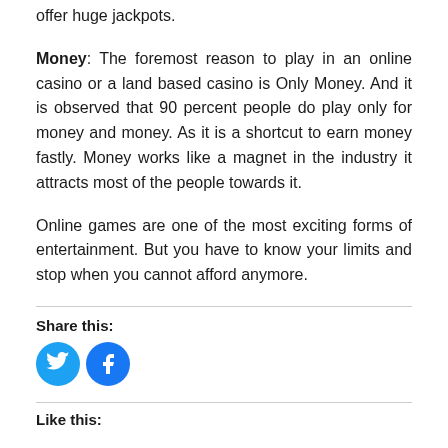offer huge jackpots.
Money: The foremost reason to play in an online casino or a land based casino is Only Money. And it is observed that 90 percent people do play only for money and money. As it is a shortcut to earn money fastly. Money works like a magnet in the industry it attracts most of the people towards it.
Online games are one of the most exciting forms of entertainment. But you have to know your limits and stop when you cannot afford anymore.
Share this:
[Figure (infographic): Twitter and Facebook social share buttons as blue circular icons with white bird and 'f' logos respectively]
Like this: